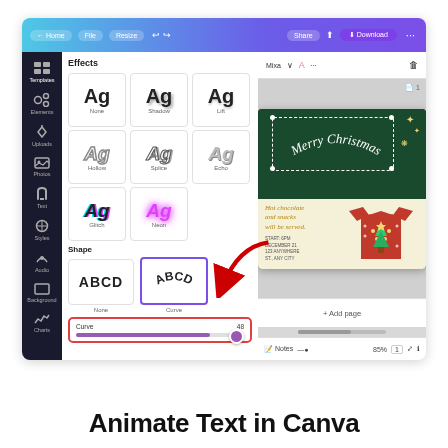[Figure (screenshot): Screenshot of Canva design editor showing the text effects panel on the left with options including None, Shadow, Lift, Hollow, Splice, Echo, Glitch, Neon, and Shape section with None and Curve options. A red arrow points to the Curve shape option. At the bottom is a Curve slider highlighted in a red rectangle. The right side shows a Christmas card design with 'Merry Christmas' text in a curved arc on a dark green background with holiday decorations and an ugly sweater graphic.]
Animate Text in Canva